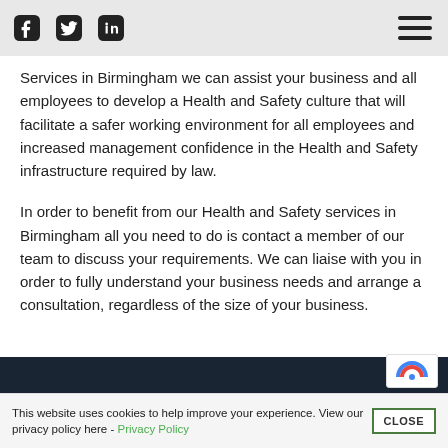[Social icons: Facebook, Twitter, LinkedIn] [Hamburger menu]
Services in Birmingham we can assist your business and all employees to develop a Health and Safety culture that will facilitate a safer working environment for all employees and increased management confidence in the Health and Safety infrastructure required by law.
In order to benefit from our Health and Safety services in Birmingham all you need to do is contact a member of our team to discuss your requirements. We can liaise with you in order to fully understand your business needs and arrange a consultation, regardless of the size of your business.
This website uses cookies to help improve your experience. View our privacy policy here - Privacy Policy  [CLOSE]